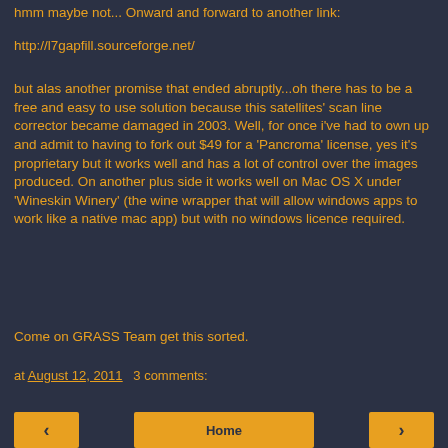hmm maybe not... Onward and forward to another link:
http://l7gapfill.sourceforge.net/
but alas another promise that ended abruptly...oh there has to be a free and easy to use solution because this satellites' scan line corrector became damaged in 2003. Well, for once i've had to own up and admit to having to fork out $49 for a 'Pancroma' license, yes it's proprietary but it works well and has a lot of control over the images produced. On another plus side it works well on Mac OS X under 'Wineskin Winery' (the wine wrapper that will allow windows apps to work like a native mac app) but with no windows licence required.
Come on GRASS Team get this sorted.
at August 12, 2011   3 comments:
Share
‹
Home
›